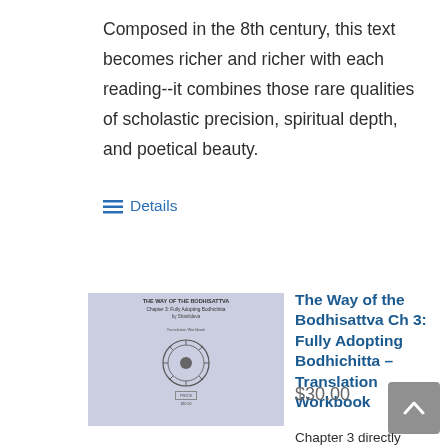Composed in the 8th century, this text becomes richer and richer with each reading--it combines those rare qualities of scholastic precision, spiritual depth, and poetical beauty.
Details
[Figure (photo): Book cover image of 'The Way of the Bodhisattva Ch 3: Fully Adopting Bodhichitta - Translation Workbook' showing a decorative medallion on a light blue/grey cover]
The Way of the Bodhisattva Ch 3: Fully Adopting Bodhichitta – Translation Workbook
$30.00
Chapter 3 directly addresses bodhicitta